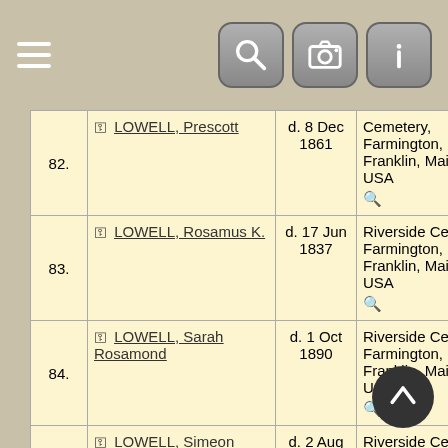Navigation header with hamburger menu and search/camera/info icons
| # | Name | Date | Place | ID |
| --- | --- | --- | --- | --- |
| 82. | LOWELL, Prescott | d. 8 Dec 1861 | Cemetery, Farmington, Franklin, Maine, USA | I592 |
| 83. | LOWELL, Rosamus K. | d. 17 Jun 1837 | Riverside Cemetery, Farmington, Franklin, Maine, USA | I574 |
| 84. | LOWELL, Sarah Rosamond | d. 1 Oct 1890 | Riverside Cemetery, Farmington, Franklin, Maine, USA | I402 |
| 85. | LOWELL, Simeon Heath | d. 2 Aug 1876 | Riverside Cemetery, Farmington, Franklin, Maine, USA | I585 |
| 86. | (partial) | d. | Riverside Cemetery, |  |